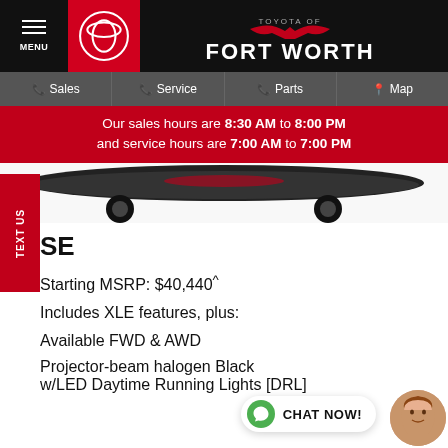MENU | Toyota of Fort Worth
Sales | Service | Parts | Map
Our sales hours are 8:30 AM to 8:00 PM and service hours are 7:00 AM to 7:00 PM
[Figure (photo): Front/underside view of a dark Toyota vehicle on white background]
SE
Starting MSRP: $40,440^
Includes XLE features, plus:
Available FWD & AWD
Projector-beam halogen Black w/LED Daytime Running Lights [DRL]